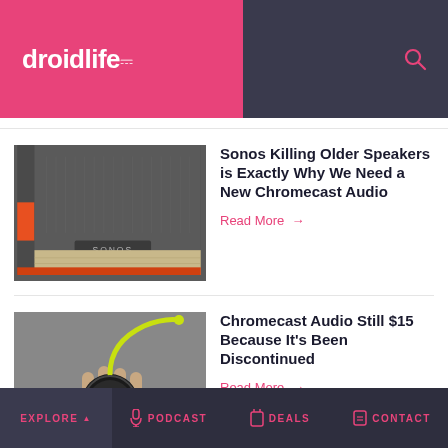droidlife
[Figure (photo): Close-up photo of a Sonos speaker grille]
Sonos Killing Older Speakers is Exactly Why We Need a New Chromecast Audio
Read More →
[Figure (photo): Hand holding a Chromecast Audio device with yellow cable]
Chromecast Audio Still $15 Because It's Been Discontinued
Read More →
Explore  Podcast  Deals  Contact